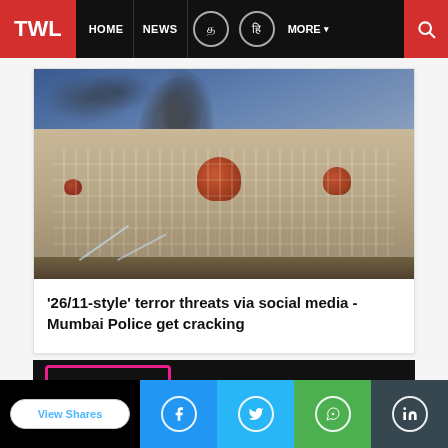TWL | HOME | NEWS | MORE
[Figure (photo): Taj Mahal Palace Hotel in Mumbai with smoke rising from the dome, fire trucks visible at the base — scene from the 26/11 Mumbai terror attacks]
'26/11-style' terror threats via social media - Mumbai Police get cracking